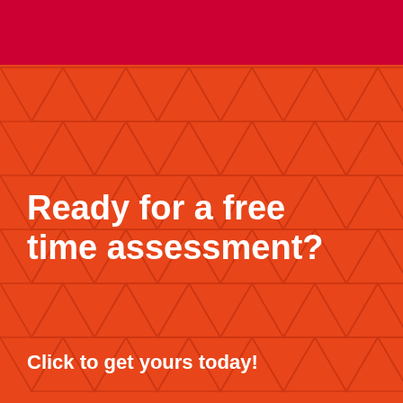[Figure (infographic): Orange background with dark red/crimson geometric triangle pattern and a dark red header bar at top]
Ready for a free time assessment?
Click to get yours today!